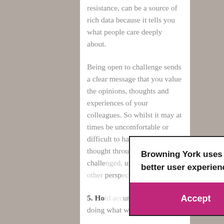resistance, can be a source of rich data because it tells you what people care deeply about.
Being open to challenge sends a clear message that you value the opinions, thoughts and experiences of your colleagues. So whilst it may at times be uncomfortable or difficult to have your carefully thought through ideas challenged, understanding other perspectives strengths.
5. Ho... unt: for each of us, doing what we say we will do
[Figure (screenshot): Cookie consent dialog box from Browning York website with 'Accept' and 'info...' buttons. Text reads: 'Browning York uses cookies and analytics to create a better user experience. Are you OK with this?']